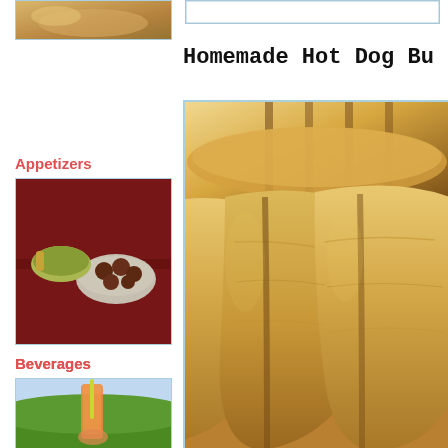[Figure (photo): Partial view of a baked pastry or bread item at top left thumbnail]
[Figure (photo): Search or input bar at top right]
Homemade Hot Dog Bu
Appetizers
[Figure (photo): Thumbnail of appetizers: bowl of meatballs and salad on a red table]
Beverages
[Figure (photo): Thumbnail of a beverage: orange drink with straw in a tall glass on green grass]
Bread for the Journey
[Figure (photo): Thumbnail of an open book with flowers on a field]
[Figure (photo): Large main photo of homemade hot dog buns arranged on a baking tray, golden brown, close-up view]